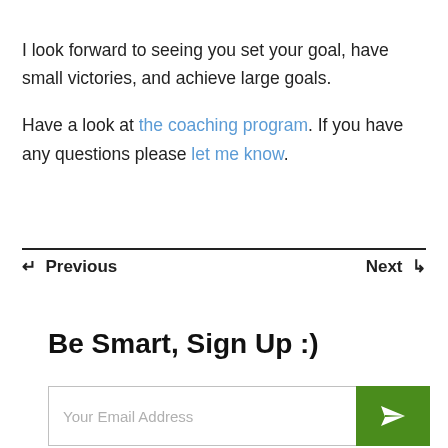I look forward to seeing you set your goal, have small victories, and achieve large goals.
Have a look at the coaching program. If you have any questions please let me know.
← Previous   Next →
Be Smart, Sign Up :)
Your Email Address [email input field with submit button]